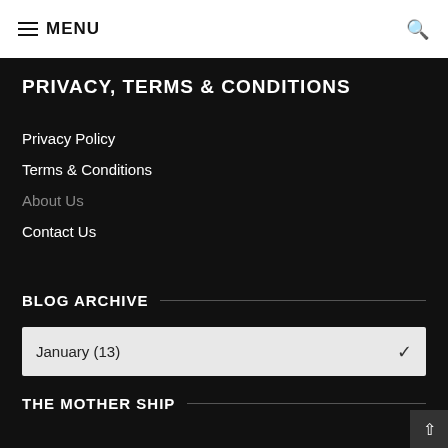MENU
PRIVACY, TERMS & CONDITIONS
Privacy Policy
Terms & Conditions
About Us
Contact Us
BLOG ARCHIVE
January (13)
THE MOTHER SHIP